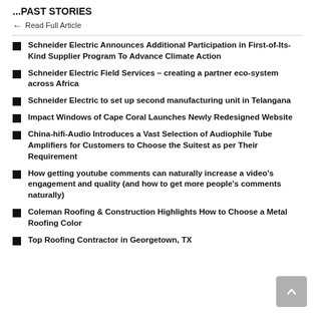...PAST STORIES
Read Full Article
Schneider Electric Announces Additional Participation in First-of-Its-Kind Supplier Program To Advance Climate Action
Schneider Electric Field Services – creating a partner eco-system across Africa
Schneider Electric to set up second manufacturing unit in Telangana
Impact Windows of Cape Coral Launches Newly Redesigned Website
China-hifi-Audio Introduces a Vast Selection of Audiophile Tube Amplifiers for Customers to Choose the Suitest as per Their Requirement
How getting youtube comments can naturally increase a video's engagement and quality (and how to get more people's comments naturally)
Coleman Roofing & Construction Highlights How to Choose a Metal Roofing Color
Top Roofing Contractor in Georgetown, TX